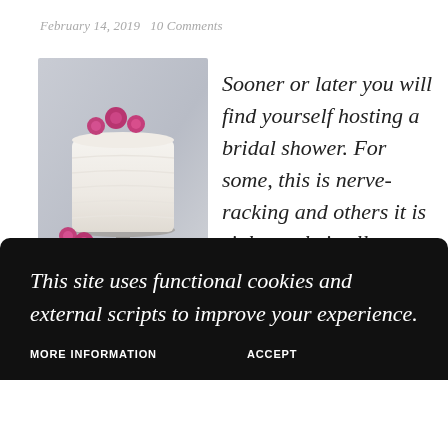February 14, 2019   10 Comments
[Figure (photo): A white layered cake decorated with pink roses on a silver cake stand, with a cake knife and server beside it, on a light gray background.]
Sooner or later you will find yourself hosting a bridal shower.  For some, this is nerve-racking and others it is right up their alley.  Celebrating the
This site uses functional cookies and external scripts to improve your experience.
MORE INFORMATION   ACCEPT